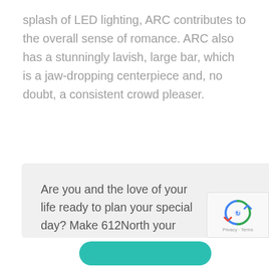splash of LED lighting, ARC contributes to the overall sense of romance. ARC also has a stunningly lavish, large bar, which is a jaw-dropping centerpiece and, no doubt, a consistent crowd pleaser.
Are you and the love of your life ready to plan your special day? Make 612North your venue of choice for beautiful memories to last forever.